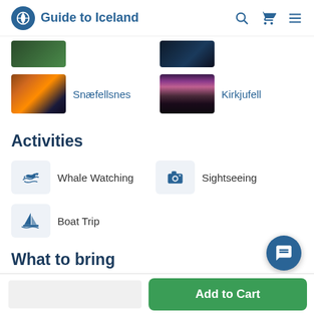Guide to Iceland
[Figure (photo): Partial view of a landscape/nature thumbnail (top, cut off)]
[Figure (photo): Partial view of a cave/dark landscape thumbnail (top, cut off)]
[Figure (photo): Snæfellsnes - stone arch at sunset over ocean]
Snæfellsnes
[Figure (photo): Kirkjufell - mountain with waterfall at dusk]
Kirkjufell
Activities
Whale Watching
Sightseeing
Boat Trip
What to bring
Add to Cart